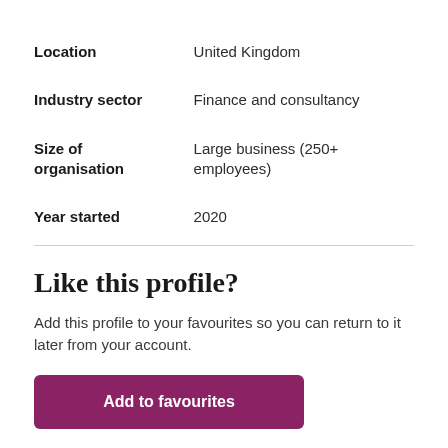| Location | United Kingdom |
| Industry sector | Finance and consultancy |
| Size of organisation | Large business (250+ employees) |
| Year started | 2020 |
Like this profile?
Add this profile to your favourites so you can return to it later from your account.
Add to favourites